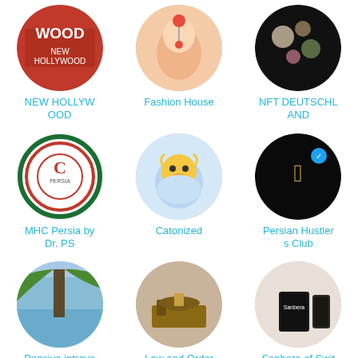[Figure (logo): NEW HOLLYWOOD circular logo with red background and 'WOOD' text]
NEW HOLLYW OOD
[Figure (photo): Fashion House - circular photo of woman with lollipop]
Fashion House
[Figure (photo): NFT DEUTSCHLAND - circular black image with flowers]
NFT DEUTSCHL AND
[Figure (logo): MHC Persia by Dr. PS - circular logo with LC Persia emblem]
MHC Persia by Dr. PS
[Figure (illustration): Catonized - circular illustration of a cat in astronaut helmet]
Catonized
[Figure (photo): Persian Hustlers Club - circular black image with golden Faravahar symbol]
Persian Hustler s Club
[Figure (photo): Pensive introvert lawyers - circular photo of palm tree against sky]
Pensive introve rt lawyers
[Figure (photo): Law and Order - circular photo of gavel]
Law and Order
[Figure (photo): Sanbera of Switzerland - circular photo of Sanbera product]
Sanbera of Swit zerland
[Figure (logo): Partially visible circular logo with wheat/laurel and heart]
[Figure (logo): Pitch Club - pink rectangular logo partially visible]
[Figure (photo): Group of people with hands together, partially visible]